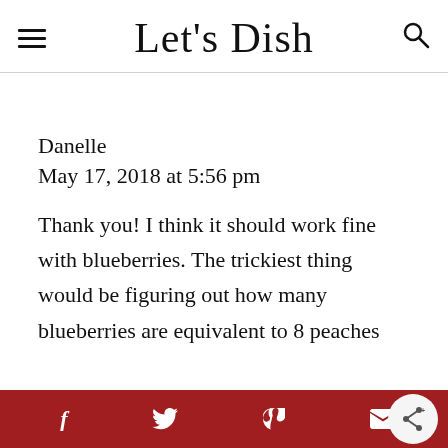Let's Dish
Danelle
May 17, 2018 at 5:56 pm
Thank you! I think it should work fine with blueberries. The trickiest thing would be figuring out how many blueberries are equivalent to 8 peaches
f  twitter  p  mail  share